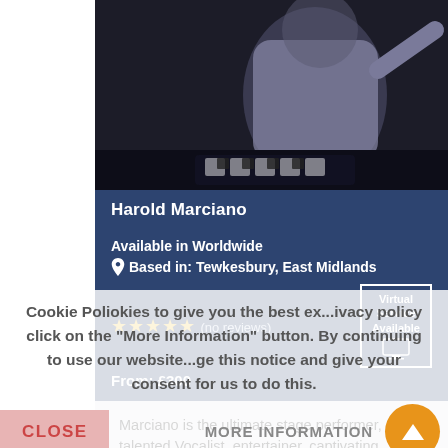[Figure (photo): Black and white photo of Harold Marciano performing on stage, wearing a light-colored shirt, partially cropped]
Harold Marciano
Available in Worldwide
Based in: Tewkesbury, East Midlands
★★★★★ (no reviews)
From: £300
Virtual Service Available
Marciano is the ultimate stage performer, a talented Vocalist, entertainer, captivating personalty and pianist, his renown stage show encompasses many styles of music including Swing, Rock and Roll Comedy, Soul and Classical music.
View Full Profile
Request a Quote
Cookie Policy ...cookies to give you the best ex...ivacy policy click on the "More Information" button. By continuing to use our website...ge this notice and give your consent for us to do this.
CLOSE
MORE INFORMATION